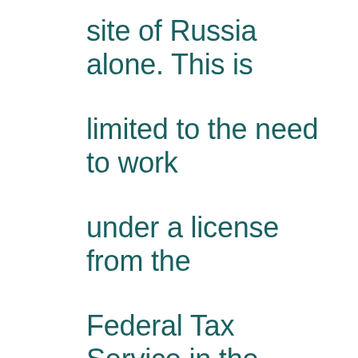site of Russia alone. This is limited to the need to work under a license from the Federal Tax Service in the country. Despite the blocking of the main resource by